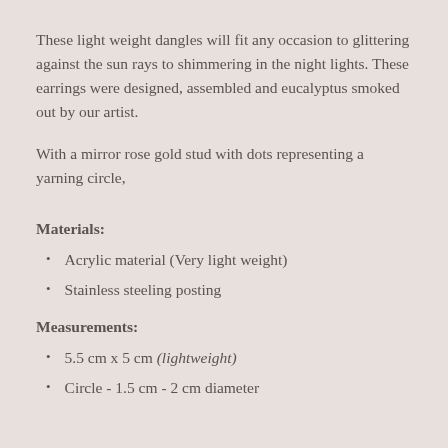These light weight dangles will fit any occasion to glittering against the sun rays to shimmering in the night lights. These earrings were designed, assembled and eucalyptus smoked out by our artist.
With a mirror rose gold stud with dots representing a yarning circle,
Materials:
Acrylic material (Very light weight)
Stainless steeling posting
Measurements:
5.5 cm x 5 cm (lightweight)
Circle - 1.5 cm - 2 cm diameter